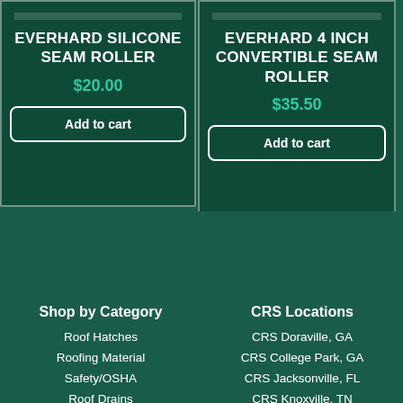EVERHARD SILICONE SEAM ROLLER
$20.00
Add to cart
EVERHARD 4 INCH CONVERTIBLE SEAM ROLLER
$35.50
Add to cart
Shop by Category
Roof Hatches
Roofing Material
Safety/OSHA
Roof Drains
CRS Locations
CRS Doraville, GA
CRS College Park, GA
CRS Jacksonville, FL
CRS Knoxville, TN